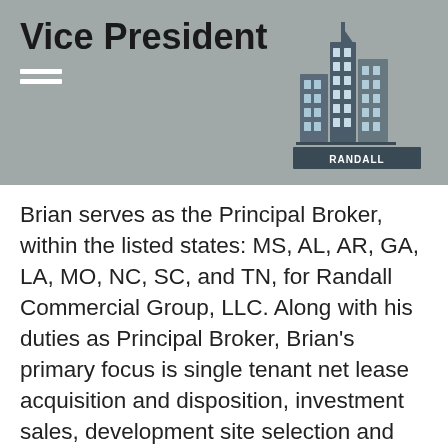Vice President
[Figure (logo): Randall Commercial logo: stylized buildings graphic above text 'RANDALL COMMERCIAL']
Brian serves as the Principal Broker, within the listed states: MS, AL, AR, GA, LA, MO, NC, SC, and TN, for Randall Commercial Group, LLC. Along with his duties as Principal Broker, Brian's primary focus is single tenant net lease acquisition and disposition, investment sales, development site selection and consulting, healthcare real estate, sale leaseback transactions, and landlord & tenant representation. Brian represents a diverse list of clients ranging from investment property owners and purchasers, medical users, developers, shopping center landlords, and retailers. Brian's past brokerage experience allows him to find creative real estate solutions to meet his client's unique property and investment needs. He also helps clients to manage their real estate assets to